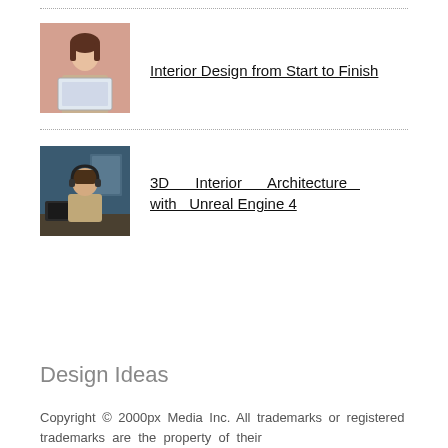[Figure (photo): Woman holding a certificate or frame, pink background]
Interior Design from Start to Finish
[Figure (photo): Man sitting at a desk with computer equipment, blue background]
3D Interior Architecture with Unreal Engine 4
Design Ideas
Copyright © 2000px Media Inc. All trademarks or registered trademarks are the property of their